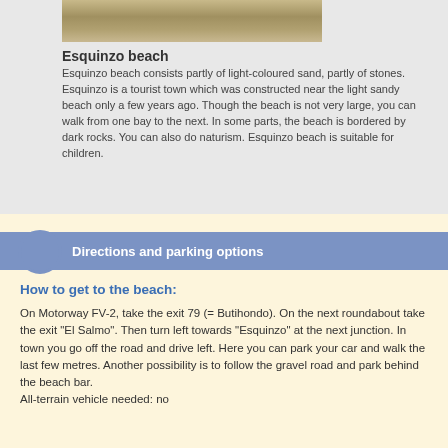[Figure (photo): Aerial or ground-level photo of Esquinzo beach showing light-coloured sand and stones.]
Esquinzo beach
Esquinzo beach consists partly of light-coloured sand, partly of stones. Esquinzo is a tourist town which was constructed near the light sandy beach only a few years ago. Though the beach is not very large, you can walk from one bay to the next. In some parts, the beach is bordered by dark rocks. You can also do naturism. Esquinzo beach is suitable for children.
Directions and parking options
How to get to the beach:
On Motorway FV-2, take the exit 79 (= Butihondo). On the next roundabout take the exit "El Salmo". Then turn left towards "Esquinzo" at the next junction. In town you go off the road and drive left. Here you can park your car and walk the last few metres. Another possibility is to follow the gravel road and park behind the beach bar.
All-terrain vehicle needed: no